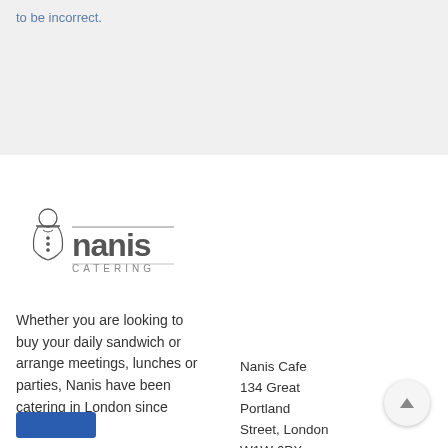to be incorrect.
[Figure (logo): Nanis Catering logo — chef figure with hat and the text 'nanis CATERING']
Whether you are looking to buy your daily sandwich or arrange meetings, lunches or parties, Nanis have been catering in London since 1972.
Nanis Cafe
134 Great Portland Street, London W1W 6PX
Phone
0207 637
1394